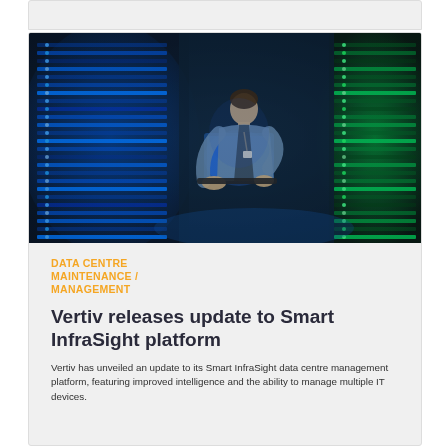[Figure (photo): Man working on a laptop in a dark data centre surrounded by servers lit with blue and green lights]
DATA CENTRE MAINTENANCE / MANAGEMENT
Vertiv releases update to Smart InfraSight platform
Vertiv has unveiled an update to its Smart InfraSight data centre management platform, featuring improved intelligence and the ability to manage multiple IT devices.